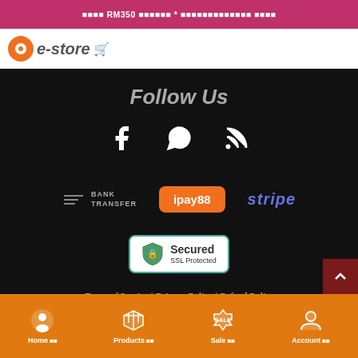RM350 *
[Figure (logo): e-store logo with orange circle and shopping cart icon]
Follow Us
[Figure (infographic): Social media icons: Facebook, WhatsApp, RSS feed]
[Figure (infographic): Payment method logos: Bank Transfer, ipay88, stripe]
[Figure (infographic): Secured SSL Protected badge]
Terms of Service | Privacy Policy | Refund Policy
Home | Products | Sale | Account